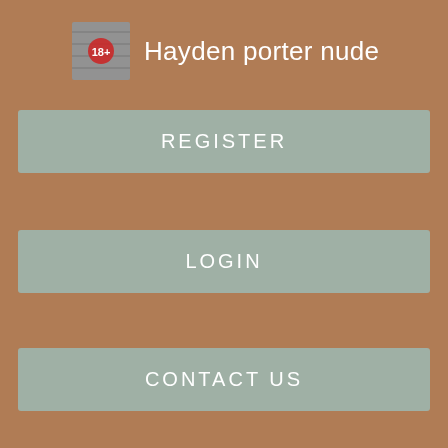Hayden porter nude
REGISTER
LOGIN
CONTACT US
[Figure (screenshot): Social share buttons: Reddit, Tweet, and another button partially visible]
[Figure (screenshot): Comment/list icon button]
If you are here because you are looking for the most amazing open-minded fun-spirited sexy adult community then you have
[Figure (screenshot): Grid of thumbnail images, including a file icon with text 'pass floor: Pho']